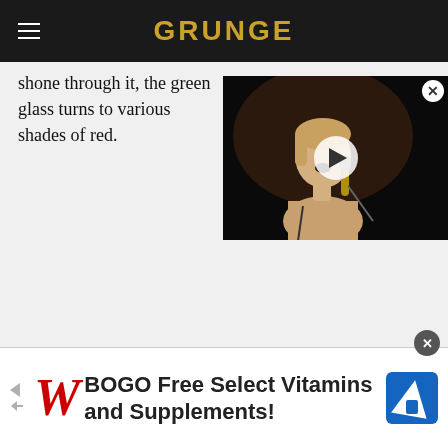GRUNGE
shone through it, the green glass turns to various shades of red.
[Figure (photo): Video thumbnail of a young singer performing at a microphone on a dark stage, with a white play button overlay and close button.]
[Figure (infographic): Walgreens advertisement banner: BOGO Free Select Vitamins and Supplements!]